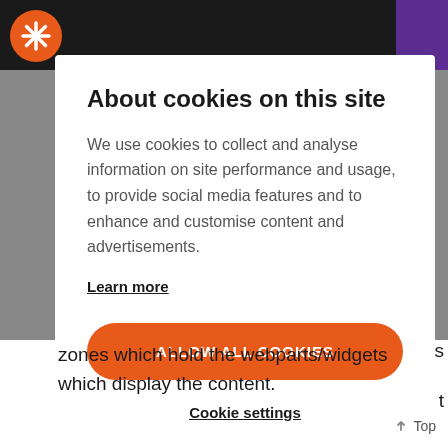[Figure (screenshot): Website screenshot showing a cookie consent modal dialog overlaying a dark background with a navigation bar. The modal has a white background with title, body text, a learn more link, an orange allow all cookies button, and a cookie settings link. In the background below the modal, partial text about webparts/widgets is visible.]
About cookies on this site
We use cookies to collect and analyse information on site performance and usage, to provide social media features and to enhance and customise content and advertisements.
Learn more
ALLOW ALL COOKIES
Cookie settings
zones which hold the webparts/widgets which display the content.